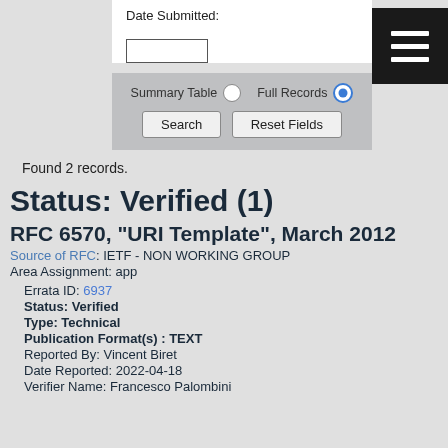Date Submitted:
[Figure (screenshot): Web form UI with date input field, radio buttons for Summary Table / Full Records (Full Records selected), and Search / Reset Fields buttons]
Found 2 records.
Status: Verified (1)
RFC 6570, "URI Template", March 2012
Source of RFC: IETF - NON WORKING GROUP
Area Assignment: app
Errata ID: 6937
Status: Verified
Type: Technical
Publication Format(s) : TEXT
Reported By: Vincent Biret
Date Reported: 2022-04-18
Verifier Name: Francesco Palombini